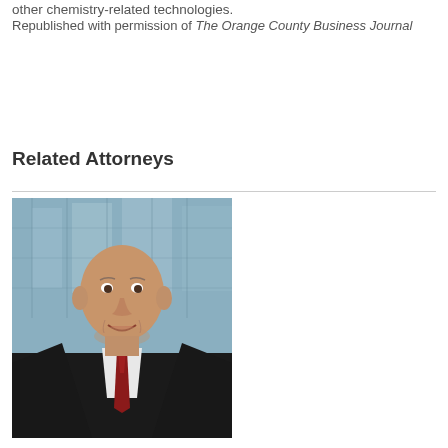other chemistry-related technologies.
Republished with permission of The Orange County Business Journal
Related Attorneys
[Figure (photo): Professional headshot of a bald male attorney in a dark suit with a red tie, standing in front of a glass building backdrop.]